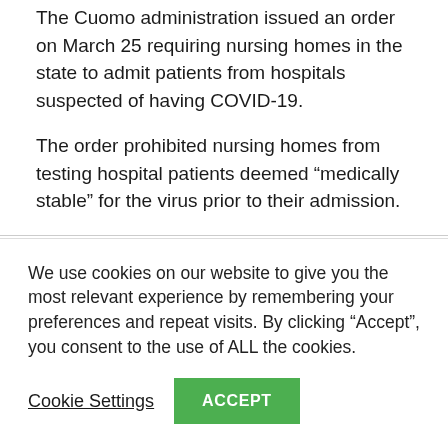The Cuomo administration issued an order on March 25 requiring nursing homes in the state to admit patients from hospitals suspected of having COVID-19.
The order prohibited nursing homes from testing hospital patients deemed “medically stable” for the virus prior to their admission.
At the onset of the pandemic, the New York State Department of Health (NYSDOH) was
We use cookies on our website to give you the most relevant experience by remembering your preferences and repeat visits. By clicking “Accept”, you consent to the use of ALL the cookies.
Cookie Settings
ACCEPT